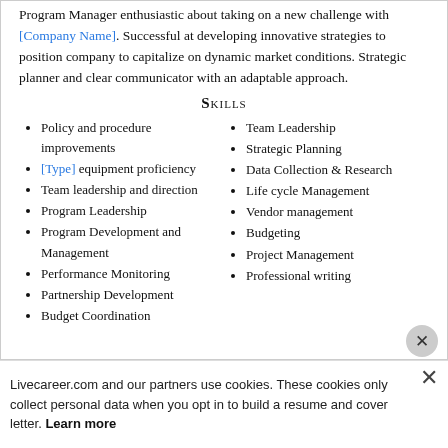Program Manager enthusiastic about taking on a new challenge with [Company Name]. Successful at developing innovative strategies to position company to capitalize on dynamic market conditions. Strategic planner and clear communicator with an adaptable approach.
Skills
Policy and procedure improvements
[Type] equipment proficiency
Team leadership and direction
Program Leadership
Program Development and Management
Performance Monitoring
Partnership Development
Budget Coordination
Team Leadership
Strategic Planning
Data Collection & Research
Life cycle Management
Vendor management
Budgeting
Project Management
Professional writing
Livecareer.com and our partners use cookies. These cookies only collect personal data when you opt in to build a resume and cover letter. Learn more